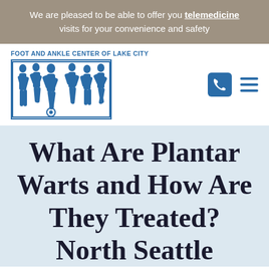We are pleased to be able to offer you telemedicine visits for your convenience and safety
[Figure (logo): Foot and Ankle Center of Lake City logo with blue silhouette figures and text]
What Are Plantar Warts and How Are They Treated? North Seattle